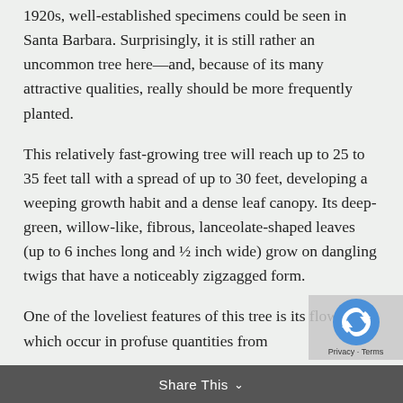1920s, well-established specimens could be seen in Santa Barbara. Surprisingly, it is still rather an uncommon tree here—and, because of its many attractive qualities, really should be more frequently planted.
This relatively fast-growing tree will reach up to 25 to 35 feet tall with a spread of up to 30 feet, developing a weeping growth habit and a dense leaf canopy. Its deep-green, willow-like, fibrous, lanceolate-shaped leaves (up to 6 inches long and ½ inch wide) grow on dangling twigs that have a noticeably zigzagged form.
One of the loveliest features of this tree is its flowers, which occur in profuse quantities from
Share This